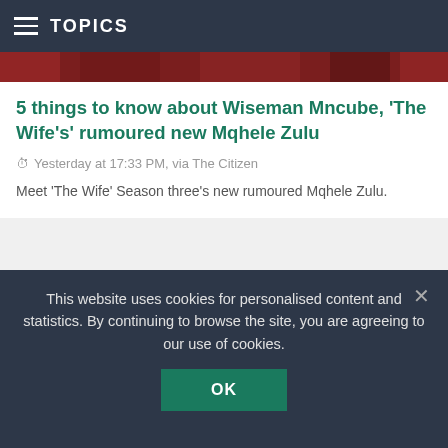TOPICS
[Figure (photo): Partial image of a person at the top of the article card, showing hair/clothing in dark red tones]
5 things to know about Wiseman Mncube, 'The Wife's' rumoured new Mqhele Zulu
Yesterday at 17:33 PM, via The Citizen
Meet 'The Wife' Season three's new rumoured Mqhele Zulu.
ENTERTAINMENT
[Figure (photo): Person wearing a shiny red Flash superhero snapback cap, looking at camera]
This website uses cookies for personalised content and statistics. By continuing to browse the site, you are agreeing to our use of cookies.